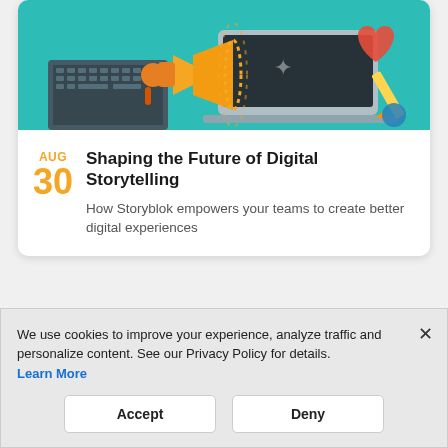[Figure (illustration): Colorful illustration of a laptop, megaphone/loudspeaker, pencil, heart, and keyboard on a teal background]
AUG
30
Shaping the Future of Digital Storytelling
How Storyblok empowers your teams to create better digital experiences
We use cookies to improve your experience, analyze traffic and personalize content. See our Privacy Policy for details. Learn More
Accept
Deny